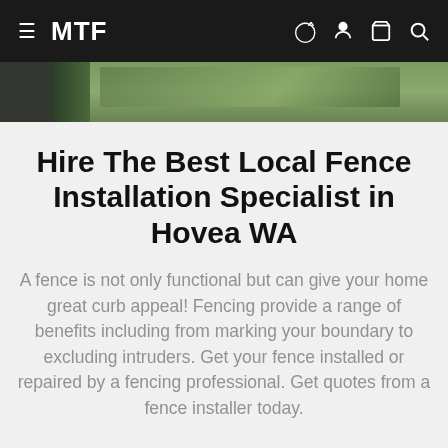MTF
[Figure (photo): Partial hero image strip showing green/outdoor fence scene with dark overlay on left side]
Hire The Best Local Fence Installation Specialist in Hovea WA
A fence is not only functional but can give your home great curb appeal! Fencing provide a range of benefits including from marking your boundary to excluding intruders. Get your fence installed or repaired by a fencing professional. Get quotes from a fence installer today.